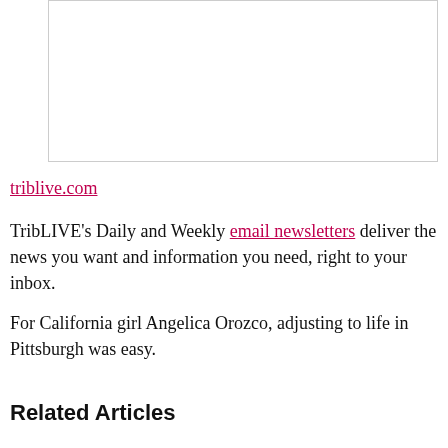[Figure (other): White rectangular image placeholder with border]
triblive.com
TribLIVE’s Daily and Weekly email newsletters deliver the news you want and information you need, right to your inbox.
For California girl Angelica Orozco, adjusting to life in Pittsburgh was easy.
Related Articles